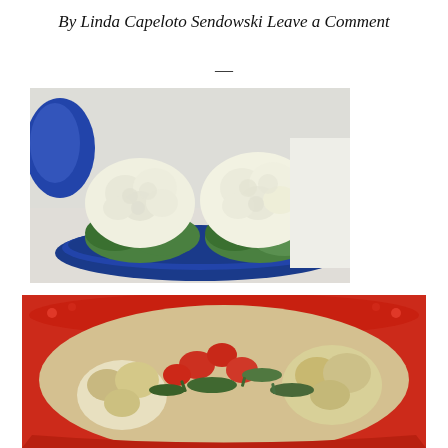By Linda Capeloto Sendowski Leave a Comment
[Figure (photo): Two heads of cauliflower with green leaves on a blue plate against a light background]
[Figure (photo): Roasted cauliflower dish with tomatoes and herbs in a red bowl]